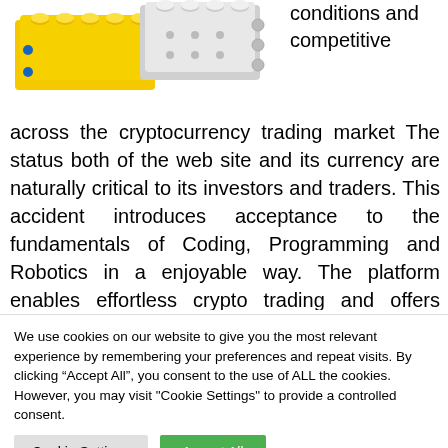[Figure (photo): Colorful LEGO Technic pieces (yellow and white/grey) arranged together, top-left portion of the page]
conditions and competitive across the cryptocurrency trading market The status both of the web site and its currency are naturally critical to its investors and traders. This accident introduces acceptance to the fundamentals of Coding, Programming and Robotics in a enjoyable way. The platform enables effortless crypto trading and offers many features to make safety and security simple as well. This course is developed to
We use cookies on our website to give you the most relevant experience by remembering your preferences and repeat visits. By clicking “Accept All”, you consent to the use of ALL the cookies. However, you may visit "Cookie Settings" to provide a controlled consent.